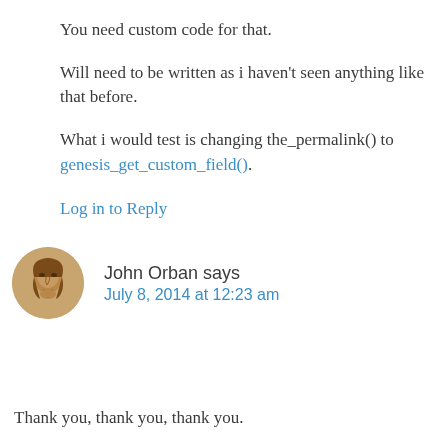You need custom code for that.
Will need to be written as i haven't seen anything like that before.
What i would test is changing the_permalink() to genesis_get_custom_field().
Log in to Reply
John Orban says
July 8, 2014 at 12:23 am
Thank you, thank you, thank you.